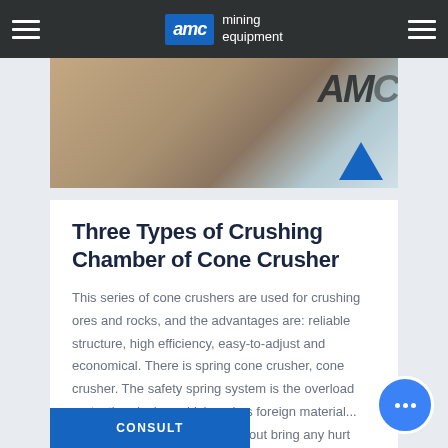AMC mining equipment
[Figure (photo): Construction site photo with workers and AMC branding banner visible on the right side]
Three Types of Crushing Chamber of Cone Crusher
This series of cone crushers are used for crushing ores and rocks, and the advantages are: reliable structure, high efficiency, easy-to-adjust and economical. There is spring cone crusher, cone crusher. The safety spring system is the overload protection device, which makes foreign material... goes through the machine without bring any hurt
CONSULT